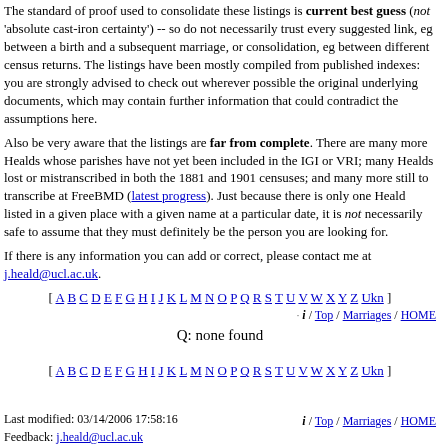The standard of proof used to consolidate these listings is current best guess (not 'absolute cast-iron certainty') -- so do not necessarily trust every suggested link, eg between a birth and a subsequent marriage, or consolidation, eg between different census returns. The listings have been mostly compiled from published indexes: you are strongly advised to check out wherever possible the original underlying documents, which may contain further information that could contradict the assumptions here.
Also be very aware that the listings are far from complete. There are many more Healds whose parishes have not yet been included in the IGI or VRI; many Healds lost or mistranscribed in both the 1881 and 1901 censuses; and many more still to transcribe at FreeBMD (latest progress). Just because there is only one Heald listed in a given place with a given name at a particular date, it is not necessarily safe to assume that they must definitely be the person you are looking for.
If there is any information you can add or correct, please contact me at j.heald@ucl.ac.uk.
[ A B C D E F G H I J K L M N O P Q R S T U V W X Y Z Ukn ]
i / Top / Marriages / HOME
Q: none found
[ A B C D E F G H I J K L M N O P Q R S T U V W X Y Z Ukn ]
Last modified: 03/14/2006 17:58:16
Feedback: j.heald@ucl.ac.uk
i / Top / Marriages / HOME